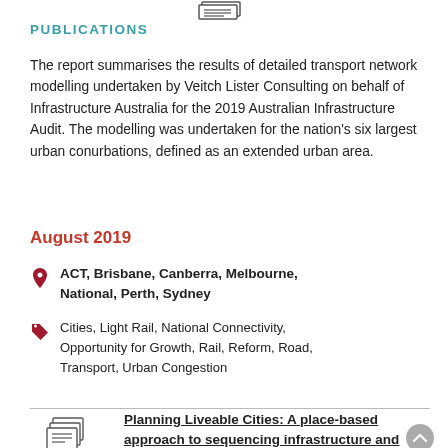[Figure (illustration): Document icon at top center]
PUBLICATIONS
The report summarises the results of detailed transport network modelling undertaken by Veitch Lister Consulting on behalf of Infrastructure Australia for the 2019 Australian Infrastructure Audit. The modelling was undertaken for the nation's six largest urban conurbations, defined as an extended urban area.
August 2019
ACT, Brisbane, Canberra, Melbourne, National, Perth, Sydney
Cities, Light Rail, National Connectivity, Opportunity for Growth, Rail, Reform, Road, Transport, Urban Congestion
[Figure (illustration): Document icon for next publication]
PUBLICATIONS
Planning Liveable Cities: A place-based approach to sequencing infrastructure and growth